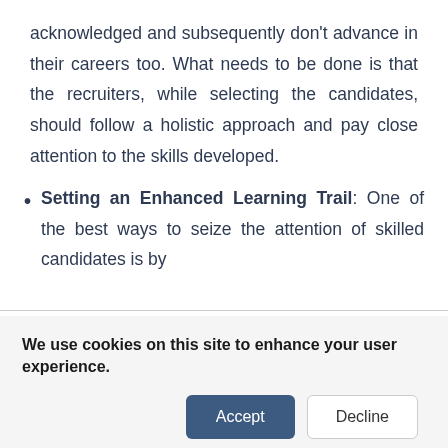acknowledged and subsequently don't advance in their careers too. What needs to be done is that the recruiters, while selecting the candidates, should follow a holistic approach and pay close attention to the skills developed.
Setting an Enhanced Learning Trail: One of the best ways to seize the attention of skilled candidates is by
We use cookies on this site to enhance your user experience.